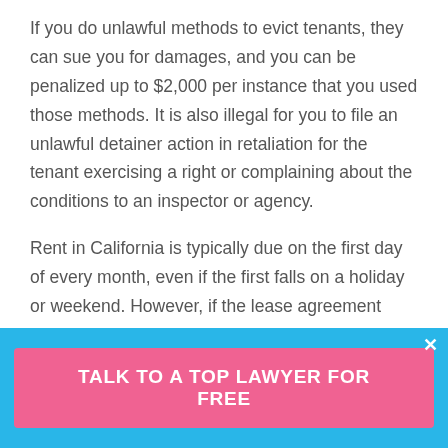If you do unlawful methods to evict tenants, they can sue you for damages, and you can be penalized up to $2,000 per instance that you used those methods. It is also illegal for you to file an unlawful detainer action in retaliation for the tenant exercising a right or complaining about the conditions to an inspector or agency.
Rent in California is typically due on the first day of every month, even if the first falls on a holiday or weekend. However, if the lease agreement specifies a different date, all legal steps should reflect the due date in the document. If there is no set due date in the agreement, it will default to the first of the month.
2. Serve tenant with an
[Figure (other): Blue bottom banner with pink CTA button reading 'TALK TO A TOP LAWYER FOR FREE' and a close (X) button in the top right corner]